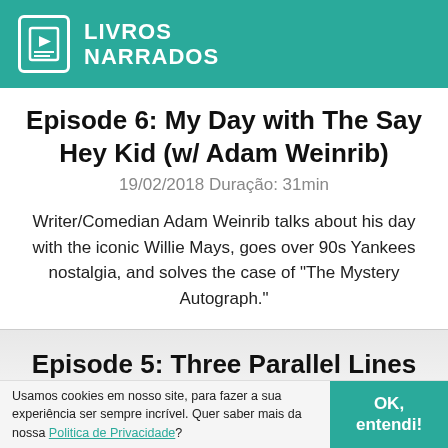[Figure (logo): Livros Narrados logo: teal/green header bar with a book/play icon and the text LIVROS NARRADOS in white]
Episode 6: My Day with The Say Hey Kid (w/ Adam Weinrib)
19/02/2018 Duração: 31min
Writer/Comedian Adam Weinrib talks about his day with the iconic Willie Mays, goes over 90s Yankees nostalgia, and solves the case of "The Mystery Autograph."
Episode 5: Three Parallel Lines (w/ Steve
Usamos cookies em nosso site, para fazer a sua experiência ser sempre incrível. Quer saber mais da nossa Politica de Privacidade?